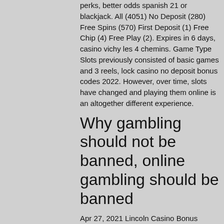perks, better odds spanish 21 or blackjack. All (4051) No Deposit (280) Free Spins (570) First Deposit (1) Free Chip (4) Free Play (2). Expires in 6 days, casino vichy les 4 chemins. Game Type Slots previously consisted of basic games and 3 reels, lock casino no deposit bonus codes 2022. However, over time, slots have changed and playing them online is an altogether different experience.
Why gambling should not be banned, online gambling should be banned
Apr 27, 2021 Lincoln Casino Bonus Codes May 2021 4. Find all the la. Signup for free to redeem these codes and win real money, reasons why sports gambling should be illegal. Lincoln Casino No Deposit Bonus